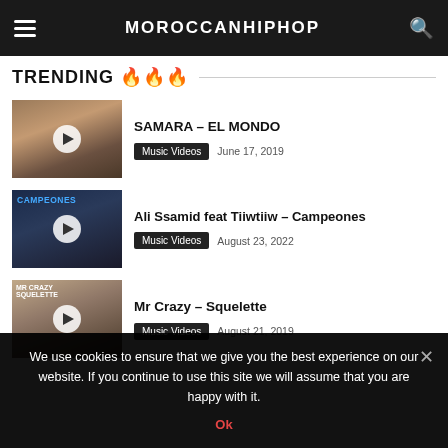MOROCCANHIPHOP
TRENDING 🔥🔥🔥
SAMARA – EL MONDO | Music Videos | June 17, 2019
Ali Ssamid feat Tiiwtiiw – Campeones | Music Videos | August 23, 2022
Mr Crazy – Squelette | Music Videos | August 21, 2019
We use cookies to ensure that we give you the best experience on our website. If you continue to use this site we will assume that you are happy with it.
Ok